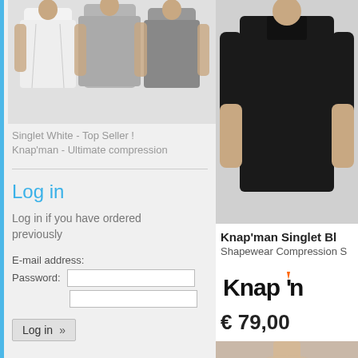[Figure (photo): Product photo showing three men wearing compression singlets in white and grey colors]
Singlet White - Top Seller !
Knap'man - Ultimate compression
Log in
Log in if you have ordered previously
E-mail address:
Password:
Log in »
Forgotten password »
Create new account »
[Figure (photo): Product photo of man wearing black compression singlet]
Knap'man Singlet Bl
Shapewear Compression S
[Figure (logo): Knap'man brand logo text]
€ 79,00
[Figure (photo): Product photo of man wearing beige/nude v-neck compression shirt]